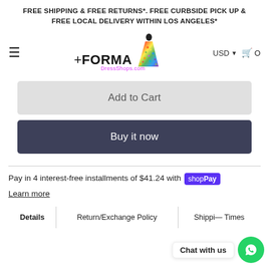FREE SHIPPING & FREE RETURNS*. FREE CURBSIDE PICK UP & FREE LOCAL DELIVERY WITHIN LOS ANGELES*
[Figure (logo): FormalDressShops.com logo with a woman in a colorful dress silhouette]
Add to Cart
Buy it now
Pay in 4 interest-free installments of $41.24 with shop Pay
Learn more
| Details | Return/Exchange Policy | Shipping Times |
| --- | --- | --- |
|  |
Chat with us